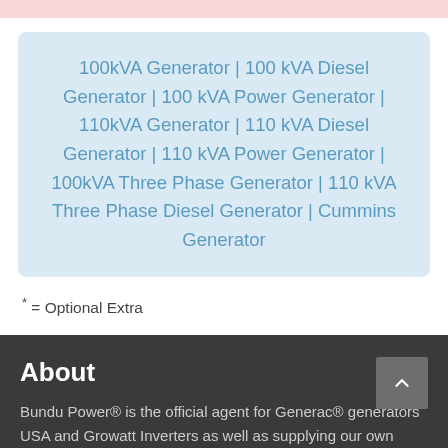100kVA Generator | 100 kVA Diesel Generator | 100 kVA Power Generator | 110kVA Generator | 110 kVA Diesel Generator | 110 kVA Power Generator | 100kVA Three Phase Generator | 110 kVA Three Phase Diesel Generator | Cummins Generator
* = Optional Extra
About
Bundu Power® is the official agent for Generac® generators USA and Growatt Inverters as well as supplying our own range of Diesel and Petrol generators. In addition we supply an extensive range of solar products such as Solar pumps, solar panels, solar inverters and solar batteries.